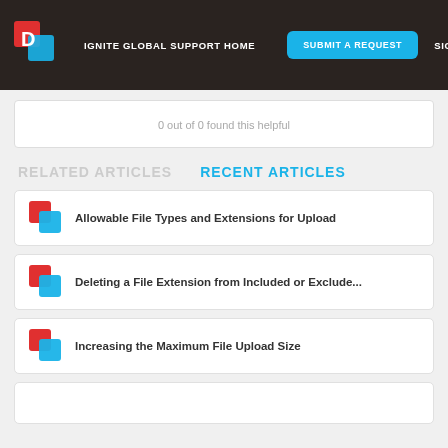IGNITE GLOBAL SUPPORT HOME | SUBMIT A REQUEST | SIGN IN
0 out of 0 found this helpful
RELATED ARTICLES
RECENT ARTICLES
Allowable File Types and Extensions for Upload
Deleting a File Extension from Included or Exclude...
Increasing the Maximum File Upload Size